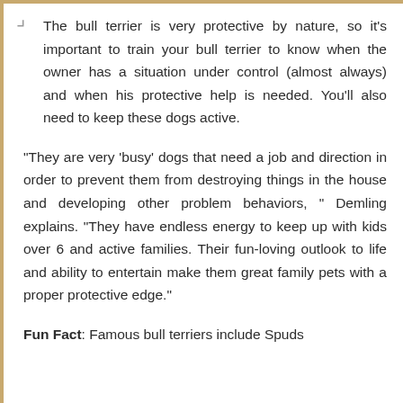The bull terrier is very protective by nature, so it's important to train your bull terrier to know when the owner has a situation under control (almost always) and when his protective help is needed. You'll also need to keep these dogs active.
“They are very ‘busy’ dogs that need a job and direction in order to prevent them from destroying things in the house and developing other problem behaviors,” Demling explains. “They have endless energy to keep up with kids over 6 and active families. Their fun-loving outlook to life and ability to entertain make them great family pets with a proper protective edge.”
Fun Fact: Famous bull terriers include Spuds